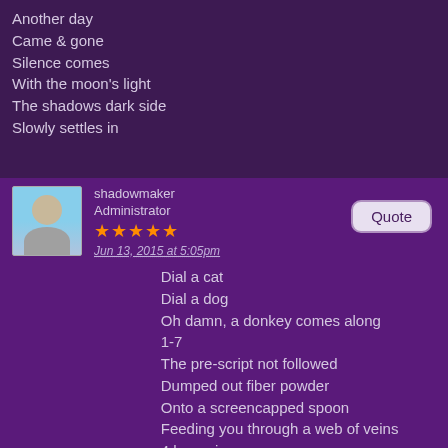Another day
Came & gone
Silence comes
With the moon's light
The shadows dark side
Slowly settles in
shadowmaker
Administrator
★★★★★
Jun 13, 2015 at 5:05pm
The Shadowed Setup
Dial a cat
Dial a dog
Oh damn, a donkey comes along
1-7
The pre-script not followed
Dumped out fiber powder
Onto a screencapped spoon
Feeding you through a web of veins
4 hours in
Your doctor complains